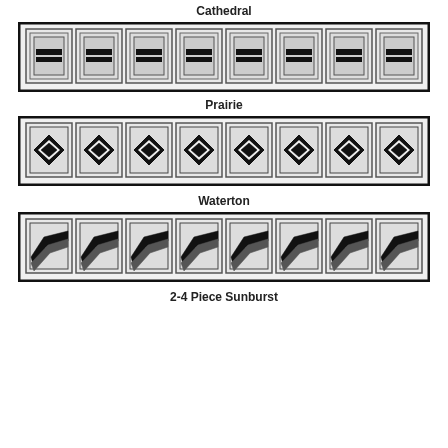Cathedral
[Figure (illustration): Row of 8 rectangular window panels with Cathedral decorative glass pattern - nested rectangles with horizontal bars]
Prairie
[Figure (illustration): Row of 8 rectangular window panels with Prairie decorative glass pattern - diamond/rhombus shapes with black fill]
Waterton
[Figure (illustration): Row of 8 rectangular window panels with Waterton decorative glass pattern - diagonal swoosh/wave shapes]
2-4 Piece Sunburst